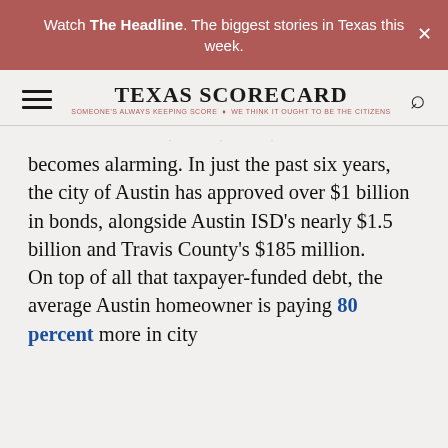Watch The Headline. The biggest stories in Texas this week.
[Figure (logo): Texas Scorecard logo with hamburger menu and search icon. Text: TEXAS SCORECARD — SOMEONE'S ALWAYS KEEPING SCORE. WE THINK IT OUGHT TO BE THE CITIZENS.]
becomes alarming. In just the past six years, the city of Austin has approved over $1 billion in bonds, alongside Austin ISD's nearly $1.5 billion and Travis County's $185 million.
On top of all that taxpayer-funded debt, the average Austin homeowner is paying 80 percent more in city